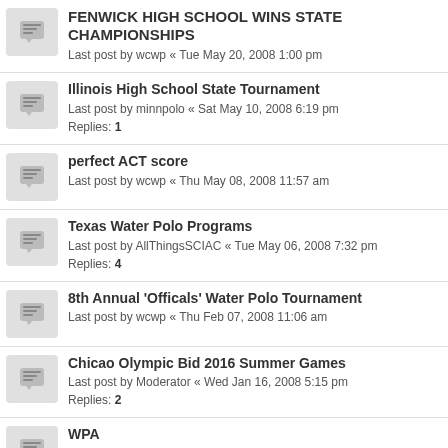FENWICK HIGH SCHOOL WINS STATE CHAMPIONSHIPS
Last post by wcwp « Tue May 20, 2008 1:00 pm
Illinois High School State Tournament
Last post by minnpolo « Sat May 10, 2008 6:19 pm
Replies: 1
perfect ACT score
Last post by wcwp « Thu May 08, 2008 11:57 am
Texas Water Polo Programs
Last post by AllThingsSCIAC « Tue May 06, 2008 7:32 pm
Replies: 4
8th Annual 'Officals' Water Polo Tournament
Last post by wcwp « Thu Feb 07, 2008 11:06 am
Chicao Olympic Bid 2016 Summer Games
Last post by Moderator « Wed Jan 16, 2008 5:15 pm
Replies: 2
WPA
Last post by LABertocci « Sat Dec 29, 2007 5:41 pm
Male Sexual Predator Photographer Now Stalking Midwest Pools
Last post by ppappas « Wed Dec 26, 2007 10:35 am
Replies: 5
45 topics • Page 1 of 1